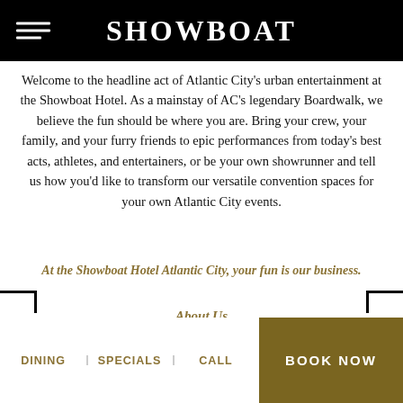Showboat
Welcome to the headline act of Atlantic City's urban entertainment at the Showboat Hotel. As a mainstay of AC's legendary Boardwalk, we believe the fun should be where you are. Bring your crew, your family, and your furry friends to epic performances from today's best acts, athletes, and entertainers, or be your own showrunner and tell us how you'd like to transform our versatile convention spaces for your own Atlantic City events.
At the Showboat Hotel Atlantic City, your fun is our business.
About Us
DINING | SPECIALS | CALL | BOOK NOW